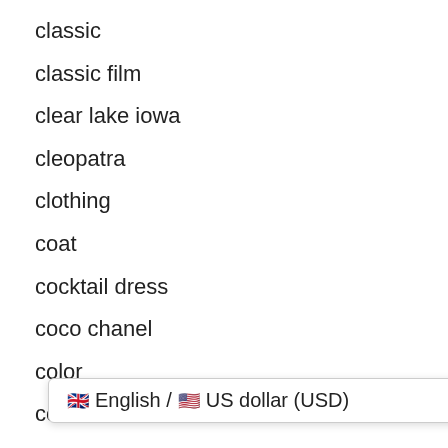classic
classic film
clear lake iowa
cleopatra
clothing
coat
cocktail dress
coco chanel
color
consumerism
coro craft
corocraft
corset
c
[Figure (screenshot): Popup overlay showing language and currency selector: English / US dollar (USD) with UK and US flags]
courreges